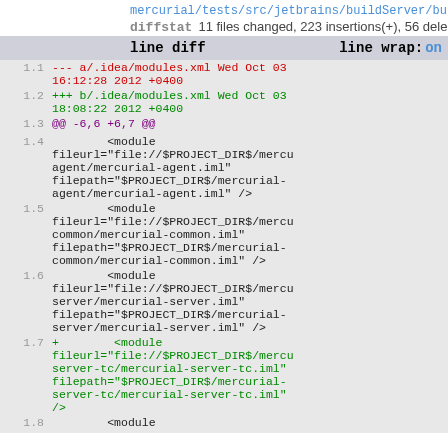mercurial/tests/src/jetbrains/buildServer/bu...
diffstat 11 files changed, 223 insertions(+), 56 dele...
line diff   line wrap: on
1.1  --- a/.idea/modules.xml Wed Oct 03 16:12:28 2012 +0400
1.2  +++ b/.idea/modules.xml Wed Oct 03 18:08:22 2012 +0400
1.3  @@ -6,6 +6,7 @@
1.4      <module fileurl="file://$PROJECT_DIR$/mercurial-agent/mercurial-agent.iml" filepath="$PROJECT_DIR$/mercurial-agent/mercurial-agent.iml" />
1.5      <module fileurl="file://$PROJECT_DIR$/mercurial-common/mercurial-common.iml" filepath="$PROJECT_DIR$/mercurial-common/mercurial-common.iml" />
1.6      <module fileurl="file://$PROJECT_DIR$/mercurial-server/mercurial-server.iml" filepath="$PROJECT_DIR$/mercurial-server/mercurial-server.iml" />
1.7  +   <module fileurl="file://$PROJECT_DIR$/mercurial-server-tc/mercurial-server-tc.iml" filepath="$PROJECT_DIR$/mercurial-server-tc/mercurial-server-tc.iml" />
1.8      <module